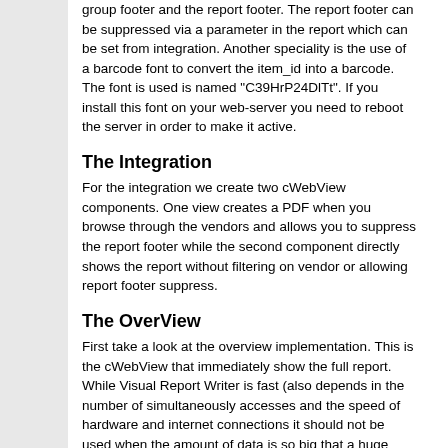group footer and the report footer. The report footer can be suppressed via a parameter in the report which can be set from integration. Another speciality is the use of a barcode font to convert the item_id into a barcode. The font is used is named "C39HrP24DlTt". If you install this font on your web-server you need to reboot the server in order to make it active.
The Integration
For the integration we create two cWebView components. One view creates a PDF when you browse through the vendors and allows you to suppress the report footer while the second component directly shows the report without filtering on vendor or allowing report footer suppress.
The OverView
First take a look at the overview implementation. This is the cWebView that immediately show the full report. While Visual Report Writer is fast (also depends in the number of simultaneously accesses and the speed of hardware and internet connections it should not be used when the amount of data is so big that a huge amount of pages is generated or when filters should be really applied. Web server access should be short and not time consuming. Users don't want to wait a long time. In this case it is fine, the report is only 3